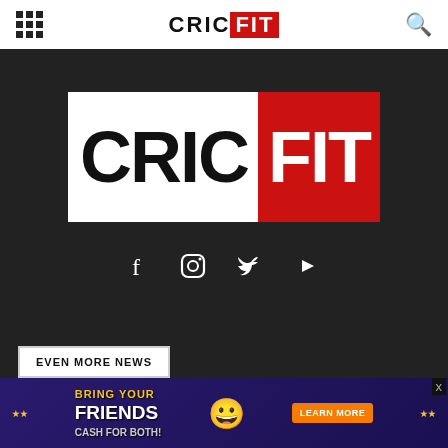CRICFIT
[Figure (logo): CricFit large logo on dark background with CRIC in white box and FIT in red box]
[Figure (infographic): Social media icons: Facebook, Instagram, Twitter, YouTube on dark background]
EVEN MORE NEWS
“I Am A Retired Cricketer Who Is Completely
[Figure (photo): Advertisement banner: BRING YOUR FRIENDS CASH FOR BOTH! with LEARN MORE button and cricket player image on dark purple background]